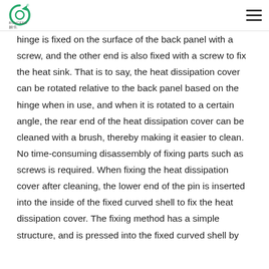BOVCEED (logo)
hinge is fixed on the surface of the back panel with a screw, and the other end is also fixed with a screw to fix the heat sink. That is to say, the heat dissipation cover can be rotated relative to the back panel based on the hinge when in use, and when it is rotated to a certain angle, the rear end of the heat dissipation cover can be cleaned with a brush, thereby making it easier to clean. No time-consuming disassembly of fixing parts such as screws is required. When fixing the heat dissipation cover after cleaning, the lower end of the pin is inserted into the inside of the fixed curved shell to fix the heat dissipation cover. The fixing method has a simple structure, and is pressed into the fixed curved shell by